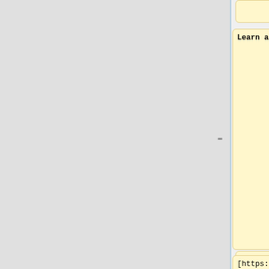Learn about
* [https://maemo-leste.github.io/ Maemo Leste website]
[https://leste.maemo.org/Development development] ,
* [https://leste.maemo.org/Main_Page Maemo Leste Wiki]
[https://leste.maemo.org/Development/Porting_Packages porting packages],
** [https://leste.maemo.org/PinePhone PinePhone wiki page]